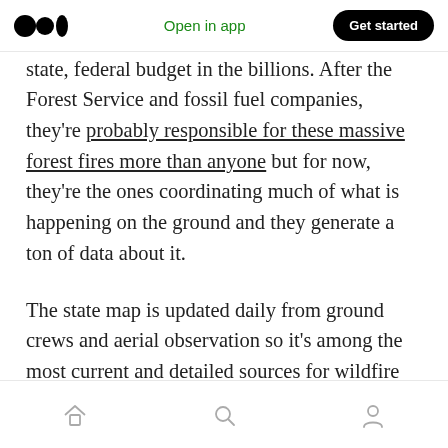Open in app | Get started
state, federal budget in the billions. After the US Forest Service and fossil fuel companies, they're probably responsible for these massive forest fires more than anyone but for now, they're the ones coordinating much of what is happening on the ground and they generate a ton of data about it.
The state map is updated daily from ground crews and aerial observation so it's among the most current and detailed sources for wildfire information in California.
Home | Search | Profile